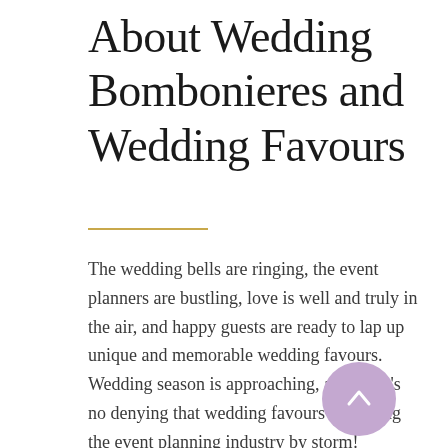About Wedding Bombonieres and Wedding Favours
The wedding bells are ringing, the event planners are bustling, love is well and truly in the air, and happy guests are ready to lap up unique and memorable wedding favours. Wedding season is approaching, and there's no denying that wedding favours are taking the event planning industry by storm! Couples are now placing the emphasis on bombonieres for weddings. However, for a Mo...